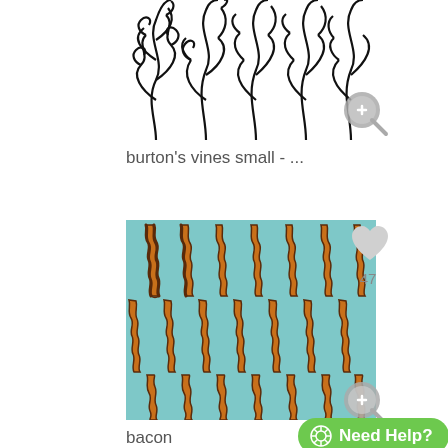[Figure (illustration): Black and white decorative vine/scroll pattern tile image (burton's vines small)]
burton's vines small - ...
[Figure (illustration): Teal background with repeating bacon strip pattern]
bacon